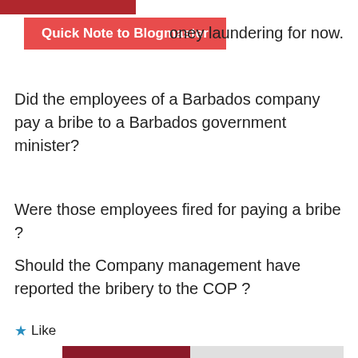[Figure (other): Dark red horizontal bar at top left]
Quick Note to Blogmaster
oney laundering for now.
Did the employees of a Barbados company pay a bribe to a Barbados government minister?
Were those employees fired for paying a bribe ?
Should the Company management have reported the bribery to the COP ?
Like
Jeff Cumberbatch   August 12, 2018 10:54 AM
They would not have had a choice is the point. The question is what has our